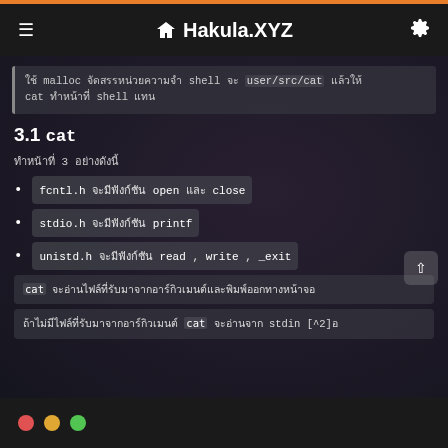Hakula.XYZ
ใช้ malloc จัดสรรหน่วยความจำ shell จะ user/src/cat แล้วให้ cat ทำหน้าที่ shell แทน
3.1 cat
ทำหน้าที่ 3 อย่างดังนี้
fcntl.h จะมีฟังก์ชัน open และ close
stdio.h จะมีฟังก์ชัน printf
unistd.h จะมีฟังก์ชัน read, write, _exit
cat จะอ่านไฟล์ที่รับมาจากอาร์กิวเมนต์และพิมพ์ออกทางหน้าจอ
ถ้าไม่มีไฟล์ที่รับมาจากอาร์กิวเมนต์ cat จะอ่านจาก stdin [^2]อ
● ● ●